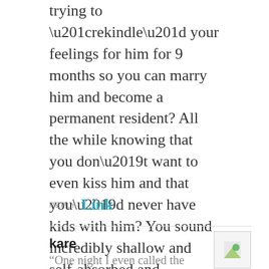trying to “rekindle” your feelings for him for 9 months so you can marry him and become a permanent resident? All the while knowing that you don’t want to even kiss him and that you’d never have kids with him? You sound incredibly shallow and self-absorbed and calculating. Do your “boyfriend” a huge favor and break up with him so he can find a partner who loves him. I think you should marry the guy you’re cheating with – it sounds like you deserve each other and then you’ll get your permanent residency.
REPLY Link
kare
“One night I even called the cops on him” yeah no get away from this guy as fast as possible